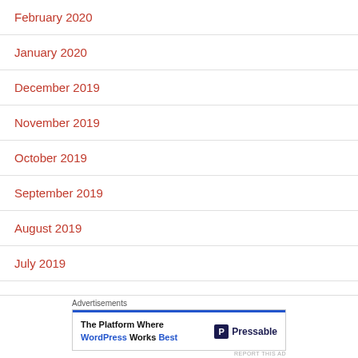February 2020
January 2020
December 2019
November 2019
October 2019
September 2019
August 2019
July 2019
June 2019
May 2019
Advertisements
[Figure (other): Advertisement banner: The Platform Where WordPress Works Best — Pressable]